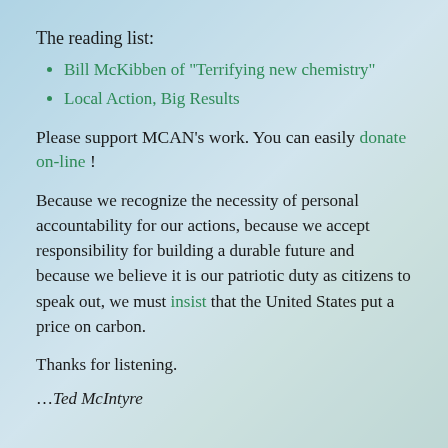The reading list:
Bill McKibben of "Terrifying new chemistry"
Local Action, Big Results
Please support MCAN’s work. You can easily donate on-line !
Because we recognize the necessity of personal accountability for our actions, because we accept responsibility for building a durable future and because we believe it is our patriotic duty as citizens to speak out, we must insist that the United States put a price on carbon.
Thanks for listening.
…Ted McIntyre